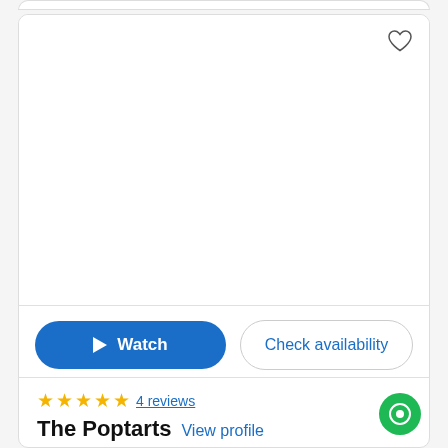[Figure (other): White image area placeholder inside a card with a heart/favorite icon in the top right corner]
Watch
Check availability
★★★★★ 4 reviews
The Poptarts
View profile
Party band  📍 Nantwich